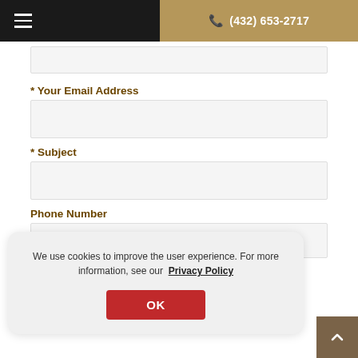(432) 653-2717
* Your Email Address
* Subject
Phone Number
We use cookies to improve the user experience. For more information, see our Privacy Policy
OK